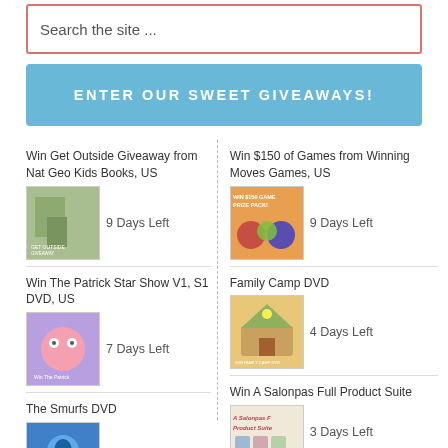Search the site ...
ENTER OUR SWEET GIVEAWAYS!
Win Get Outside Giveaway from Nat Geo Kids Books, US — 9 Days Left
Win $150 of Games from Winning Moves Games, US — 9 Days Left
Win The Patrick Star Show V1, S1 DVD, US — 7 Days Left
Family Camp DVD — 4 Days Left
The Smurfs DVD — 3 Days Left
Win A Salonpas Full Product Suite — 3 Days Left
Win $15 Amazon GC or